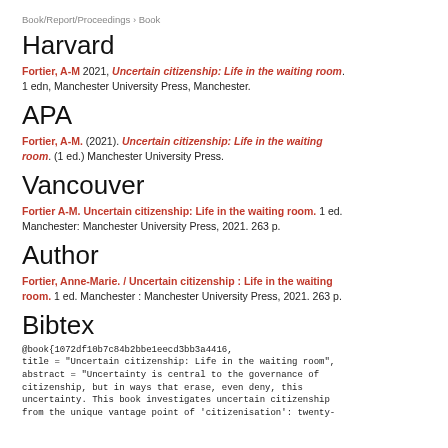Book/Report/Proceedings › Book
Harvard
Fortier, A-M 2021, Uncertain citizenship: Life in the waiting room. 1 edn, Manchester University Press, Manchester.
APA
Fortier, A-M. (2021). Uncertain citizenship: Life in the waiting room. (1 ed.) Manchester University Press.
Vancouver
Fortier A-M. Uncertain citizenship: Life in the waiting room. 1 ed. Manchester: Manchester University Press, 2021. 263 p.
Author
Fortier, Anne-Marie. / Uncertain citizenship : Life in the waiting room. 1 ed. Manchester : Manchester University Press, 2021. 263 p.
Bibtex
@book{1072df10b7c84b2bbe1eecd3bb3a4416,
title = "Uncertain citizenship: Life in the waiting room",
abstract = "Uncertainty is central to the governance of citizenship, but in ways that erase, even deny, this uncertainty. This book investigates uncertain citizenship from the unique vantage point of 'citizenisation': twenty-